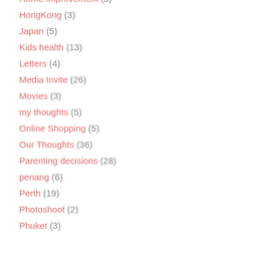Home Improvement (5)
HongKong (3)
Japan (5)
Kids health (13)
Letters (4)
Media Invite (26)
Movies (3)
my thoughts (5)
Online Shopping (5)
Our Thoughts (36)
Parenting decisions (28)
penang (6)
Perth (19)
Photoshoot (2)
Phuket (3)